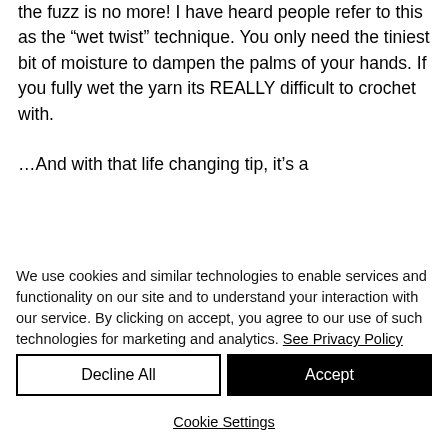the fuzz is no more!  I have heard people refer to this as the “wet twist” technique.  You only need the tiniest bit of moisture to dampen the palms of your hands.  If you fully wet the yarn its REALLY difficult to crochet with.

...And with that life changing tip, it’s a
We use cookies and similar technologies to enable services and functionality on our site and to understand your interaction with our service. By clicking on accept, you agree to our use of such technologies for marketing and analytics. See Privacy Policy
Decline All
Accept
Cookie Settings